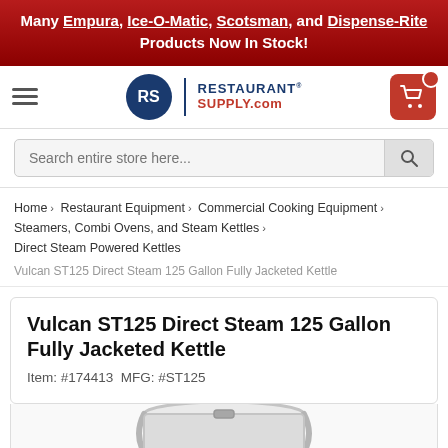Many Empura, Ice-O-Matic, Scotsman, and Dispense-Rite Products Now In Stock!
[Figure (logo): RestaurantSupply.com logo with blue circle RS badge and two-tone text]
Search entire store here...
Home > Restaurant Equipment > Commercial Cooking Equipment > Steamers, Combi Ovens, and Steam Kettles > Direct Steam Powered Kettles
Vulcan ST125 Direct Steam 125 Gallon Fully Jacketed Kettle
Vulcan ST125 Direct Steam 125 Gallon Fully Jacketed Kettle
Item: #174413  MFG: #ST125
[Figure (photo): Partial view of stainless steel steam kettle product image]